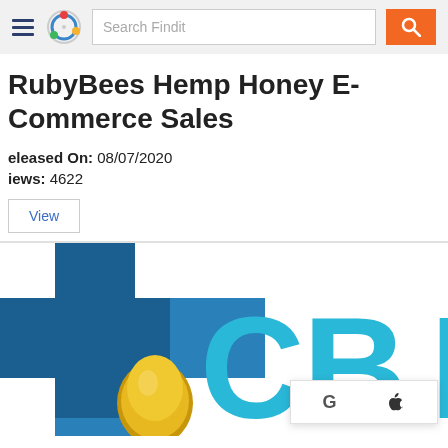Search Findit
RubyBees Hemp Honey E-Commerce Sales
Released On: 08/07/2020
Views: 4622
View
[Figure (logo): CBD product logo with blue cross, golden drop, and large teal 'CBD' letters. Partial view. Overlaid sign-in panel with Google 'G' and Apple logo buttons.]